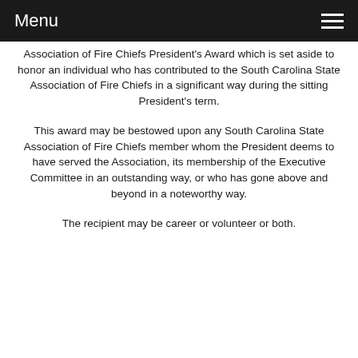Menu
Association of Fire Chiefs President’s Award which is set aside to honor an individual who has contributed to the South Carolina State Association of Fire Chiefs in a significant way during the sitting President’s term.
This award may be bestowed upon any South Carolina State Association of Fire Chiefs member whom the President deems to have served the Association, its membership of the Executive Committee in an outstanding way, or who has gone above and beyond in a noteworthy way.
The recipient may be career or volunteer or both.